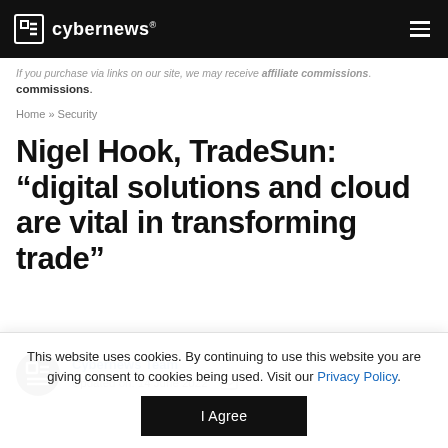cybernews®
If you purchase via links on our site, we may receive affiliate commissions.
Home » Security
Nigel Hook, TradeSun: "digital solutions and cloud are vital in transforming trade"
Cybernews Team
Updated on: 14 June 2022
This website uses cookies. By continuing to use this website you are giving consent to cookies being used. Visit our Privacy Policy.